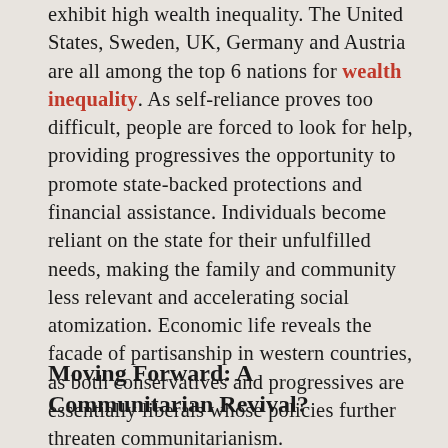exhibit high wealth inequality. The United States, Sweden, UK, Germany and Austria are all among the top 6 nations for wealth inequality. As self-reliance proves too difficult, people are forced to look for help, providing progressives the opportunity to promote state-backed protections and financial assistance. Individuals become reliant on the state for their unfulfilled needs, making the family and community less relevant and accelerating social atomization. Economic life reveals the facade of partisanship in western countries, as both conservatives and progressives are essentially liberals whose policies further threaten communitarianism.
Moving Forward: A Communitarian Revival?